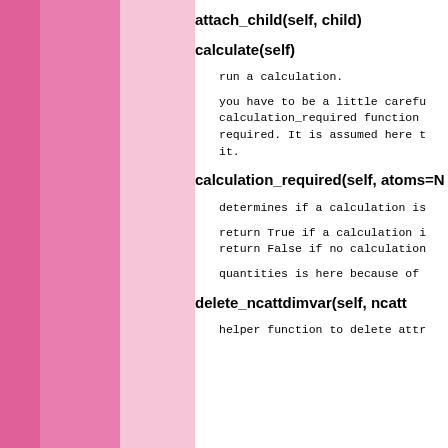attach_child(self, child)
calculate(self)
run a calculation.
you have to be a little carefu calculation_required function required. It is assumed here t it.
calculation_required(self, atoms=N
determines if a calculation is
return True if a calculation i return False if no calculation
quantities is here because of
delete_ncattdimvar(self, ncf, ncatt
helper function to delete attr